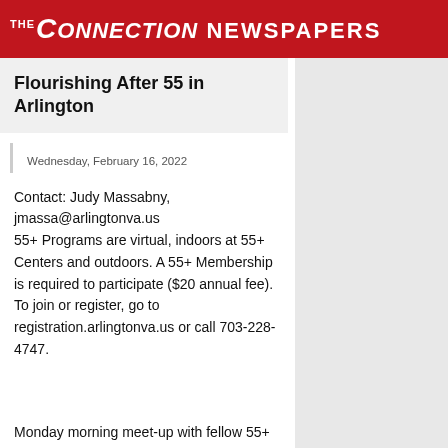THE CONNECTION NEWSPAPERS
Flourishing After 55 in Arlington
Sign in
Wednesday, February 16, 2022
Contact: Judy Massabny, jmassa@arlingtonva.us 55+ Programs are virtual, indoors at 55+ Centers and outdoors. A 55+ Membership is required to participate ($20 annual fee). To join or register, go to registration.arlingtonva.us or call 703-228-4747.
Monday morning meet-up with fellow 55+